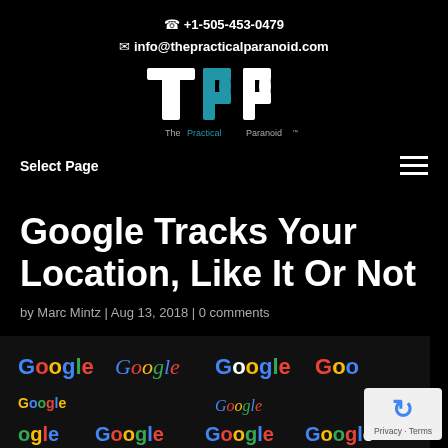+1-505-453-0479
info@thepracticalparanoid.com
[Figure (logo): TPP - The Practical Paranoid logo: large white T, blue P, white P lettering with tagline 'The Practical Paranoid TM']
Select Page
Google Tracks Your Location, Like It Or Not
by Marc Mintz | Aug 13, 2018 | 0 comments
[Figure (screenshot): Grid of various Google logo variations and doodles on black background]